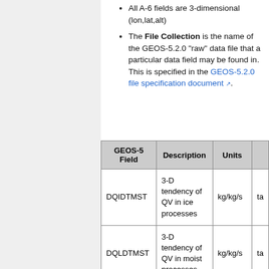All A-6 fields are 3-dimensional (lon,lat,alt)
The File Collection is the name of the GEOS-5.2.0 "raw" data file that a particular data field may be found in. This is specified in the GEOS-5.2.0 file specification document.
| GEOS-5 Field | Description | Units |  |
| --- | --- | --- | --- |
| DQIDTMST | 3-D tendency of QV in ice processes | kg/kg/s | ta |
| DQLDTMST | 3-D tendency of QV in moist processes | kg/kg/s | ta |